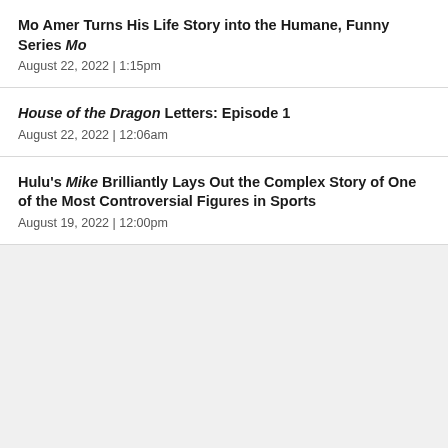Mo Amer Turns His Life Story into the Humane, Funny Series Mo
August 22, 2022  |  1:15pm
House of the Dragon Letters: Episode 1
August 22, 2022  |  12:06am
Hulu's Mike Brilliantly Lays Out the Complex Story of One of the Most Controversial Figures in Sports
August 19, 2022  |  12:00pm